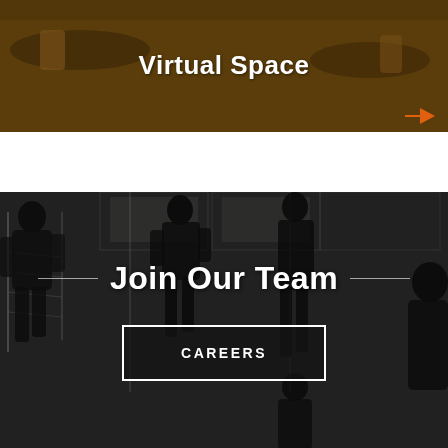[Figure (photo): Warm-toned office/lounge interior photo with text overlay reading 'Virtual Space' and an orange arrow indicator in the bottom-right corner.]
Virtual Space
[Figure (photo): Dark grayscale photo of people on a staircase in a modern office interior, overlaid with 'Join Our Team' title and a 'CAREERS' button.]
Join Our Team
CAREERS